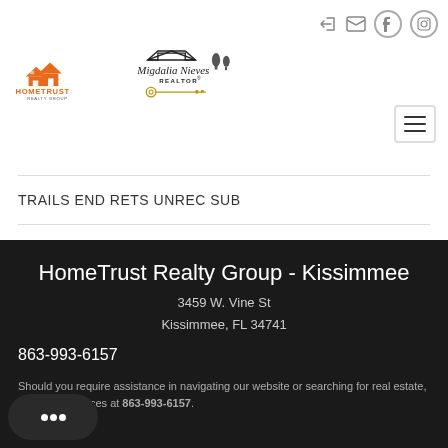[Figure (logo): HomeTrust Realty Group logo with orange house icons and text]
[Figure (logo): Migdalia Nieves Realtor logo with script text and key]
TRAILS END RETS UNREC SUB
UNREC TRACTS IN 24-20S-19E
HomeTrust Realty Group - Kissimmee
3459 W. Vine St
Kissimmee, FL 34741
863-993-6157
Should you require assistance in navigating our website or searching for real estate, contact our offices at 863-993-6157